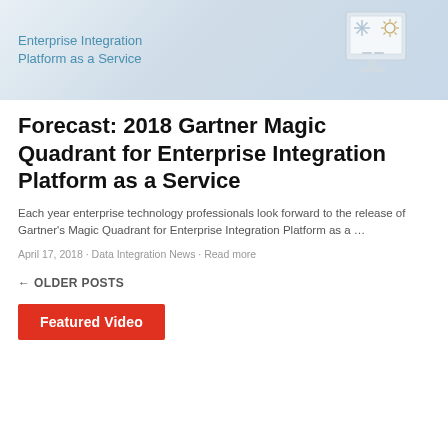[Figure (illustration): Banner image for Enterprise Integration Platform as a Service with a light blue/grey gradient background, showing the text 'Enterprise Integration Platform as a Service' in teal/blue on the left, and a stylized monitor/device illustration on the right with snowflake and sun icons.]
Forecast: 2018 Gartner Magic Quadrant for Enterprise Integration Platform as a Service
Each year enterprise technology professionals look forward to the release of Gartner’s Magic Quadrant for Enterprise Integration Platform as a …
April 17, 2018 · Data Integration News · Read more
← OLDER POSTS
Featured Video